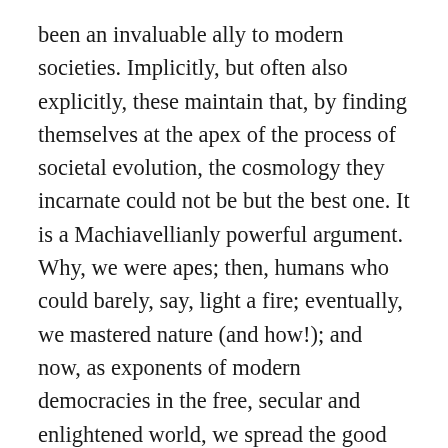been an invaluable ally to modern societies. Implicitly, but often also explicitly, these maintain that, by finding themselves at the apex of the process of societal evolution, the cosmology they incarnate could not be but the best one. It is a Machiavellianly powerful argument. Why, we were apes; then, humans who could barely, say, light a fire; eventually, we mastered nature (and how!); and now, as exponents of modern democracies in the free, secular and enlightened world, we spread the good news to our fellow humans in less privileged countries, or rather ‘developing’ countries and, surely, by the laws of evolution. (Among many, many ‘anomalies’, Göbekli Tepe, the archaeological site in Anatolia, debunks such a simplistic explanation, but that does not seem to matter to the establishment.)